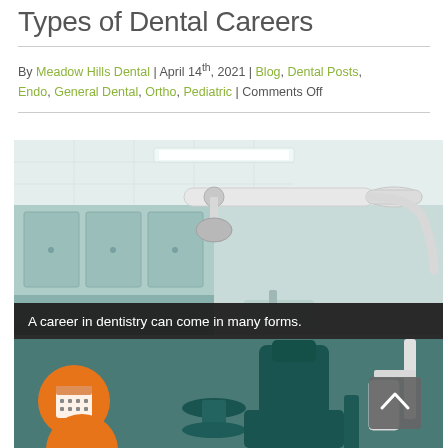Types of Dental Careers
By Meadow Hills Dental | April 14th, 2021 | Blog, Dental Posts, Endo, General Dental, Ortho, Pediatric | Comments Off
[Figure (photo): Interior of a dental office showing a dental chair (teal/dark green), overhead dental light arm, teal cabinetry, and dental equipment. A semi-transparent caption bar reads 'A career in dentistry can come in many forms.' An orange circular calendar scheduling button and an orange circular phone button are overlaid on the lower left. A gray scroll-to-top button with an upward chevron is overlaid on the lower right.]
A career in dentistry can come in many forms.